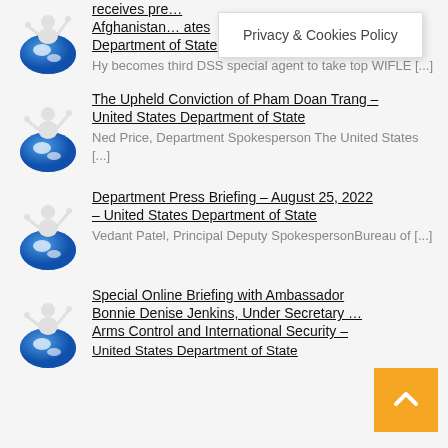[Figure (illustration): Globe with figure icon for first list item (partial, cropped at top)]
receives pre… Afghanistan… ates Department of State – Hy becomes third DSS special agent to take top WIFLE […]
[Figure (illustration): Globe with figure icon for second list item]
The Upheld Conviction of Pham Doan Trang – United States Department of State – Ned Price, Department Spokesperson The United States […]
[Figure (illustration): Globe with figure icon for third list item]
Department Press Briefing – August 25, 2022 – United States Department of State – Vedant Patel, Principal Deputy SpokespersonBureau of […]
[Figure (illustration): Globe with figure icon for fourth list item]
Special Online Briefing with Ambassador Bonnie Denise Jenkins, Under Secretary … Arms Control and International Security – United States Department of State
Privacy & Cookies Policy